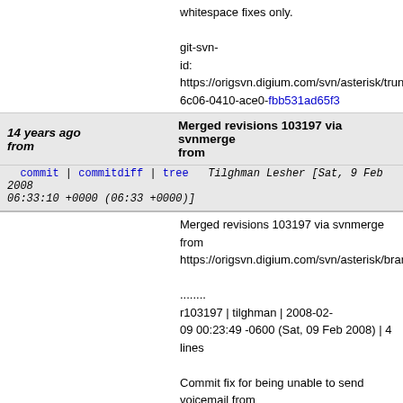whitespace fixes only.

git-svn-id: https://origsvn.digium.com/svn/asterisk/trunk@6c06-0410-ace0-fbb531ad65f3
14 years ago from    Merged revisions 103197 via svnmerge from
commit | commitdiff | tree    Tilghman Lesher [Sat, 9 Feb 2008 06:33:10 +0000 (06:33 +0000)]
Merged revisions 103197 via svnmerge from https://origsvn.digium.com/svn/asterisk/branches/1

........
r103197 | tilghman | 2008-02-09 00:23:49 -0600 (Sat, 09 Feb 2008) | 4 lines

Commit fix for being unable to send voicemail from
 Reported by: William F Acker (via the -users mailing list)
 Patch by: Corydon76 (license 14)

........

git-svn-id: https://origsvn.digium.com/svn/asterisk/trunk@6c06-0410-ace0-fbb531ad65f3